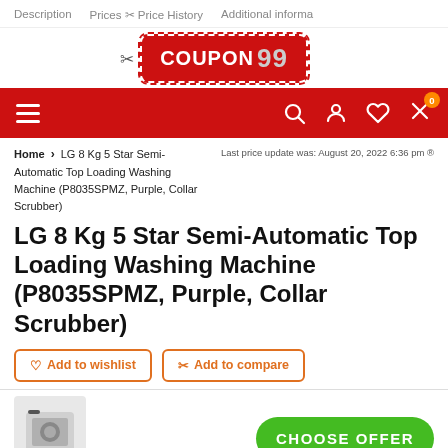Description   Prices ✂ Price History   Additional informa
[Figure (logo): COUPON 99 logo in red rounded rectangle with dashed border and scissors icon]
[Figure (screenshot): Red navigation bar with hamburger menu on left, and search, account, wishlist, compare icons on right with orange badge showing 0]
Home > LG 8 Kg 5 Star Semi-Automatic Top Loading Washing Machine (P8035SPMZ, Purple, Collar Scrubber)
Last price update was: August 20, 2022 6:36 pm
LG 8 Kg 5 Star Semi-Automatic Top Loading Washing Machine (P8035SPMZ, Purple, Collar Scrubber)
♡ Add to wishlist
✂ Add to compare
[Figure (photo): Small product photo of LG washing machine]
CHOOSE OFFER